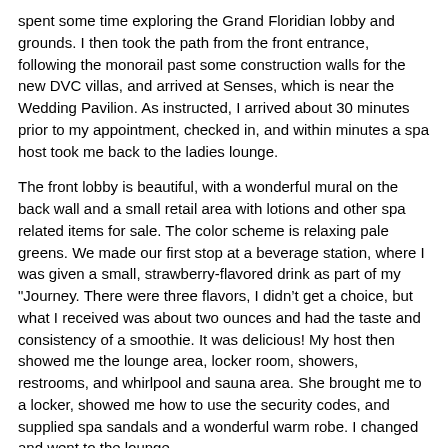spent some time exploring the Grand Floridian lobby and grounds. I then took the path from the front entrance, following the monorail past some construction walls for the new DVC villas, and arrived at Senses, which is near the Wedding Pavilion. As instructed, I arrived about 30 minutes prior to my appointment, checked in, and within minutes a spa host took me back to the ladies lounge.
The front lobby is beautiful, with a wonderful mural on the back wall and a small retail area with lotions and other spa related items for sale. The color scheme is relaxing pale greens. We made our first stop at a beverage station, where I was given a small, strawberry-flavored drink as part of my "Journey. There were three flavors, I didn't get a choice, but what I received was about two ounces and had the taste and consistency of a smoothie. It was delicious! My host then showed me the lounge area, locker room, showers, restrooms, and whirlpool and sauna area. She brought me to a locker, showed me how to use the security codes, and supplied spa sandals and a wonderful warm robe. I changed and went to the lounge.
In the lounge there is another refreshment area, and this one is self-service. You can enjoy a hot cup of tea, cucumber water, fresh fruit, and cupcakes! The new Senses Spa serves a daily variety of 'healthy' miniature cupcakes. I enjoyed a chocolate banana cupcake and some orange tea, and had some time to relax. Reading material is provided and